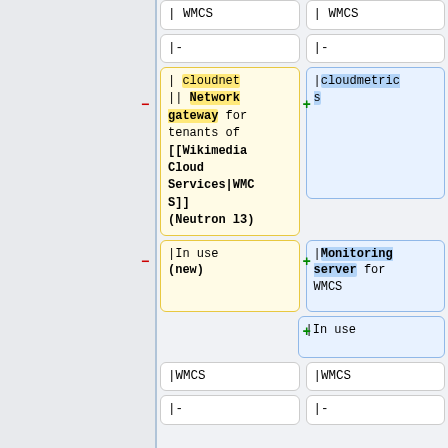[Figure (screenshot): Diff view of wiki markup showing two columns of code cells. Left column shows removed content (yellow highlight, minus marker) and right column shows added content (blue highlight, plus marker). Rows include: WMCS, separator dashes, cloudnet/Network gateway cell vs cloudmetrics cell, In use (new) vs Monitoring server for WMCS, plus-only In use row, WMCS rows, and dash rows.]